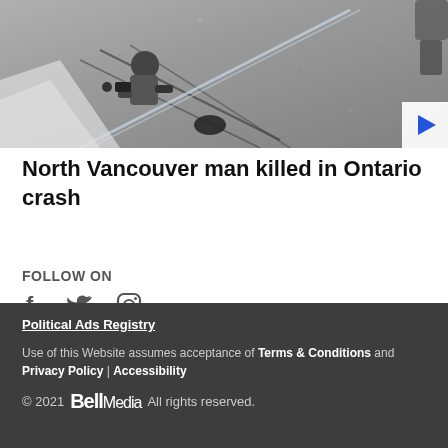[Figure (photo): Aerial view of a person crouching near debris on gravel ground, with large glass panes leaning against a structure. A play button overlay is in the bottom-right corner of the image.]
North Vancouver man killed in Ontario crash
FOLLOW ON
[Figure (infographic): Social media icons: Facebook (f), Twitter (bird), Instagram (camera outline)]
Political Ads Registry
Use of this Website assumes acceptance of Terms & Conditions and Privacy Policy | Accessibility
© 2021 Bell Media All rights reserved.